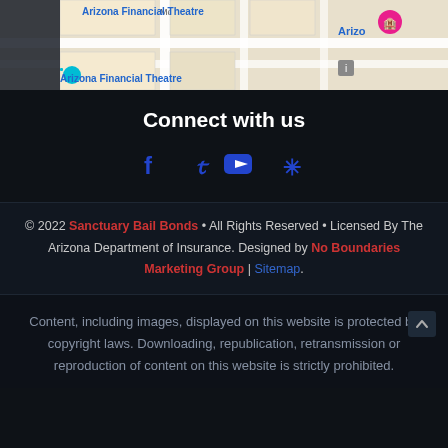[Figure (map): Google Maps screenshot showing Arizona Financial Theatre area with Monroe St, 3rd Ave, and a hotel pin marker]
Connect with us
[Figure (infographic): Social media icons: Facebook, Twitter, YouTube, Yelp in blue]
© 2022 Sanctuary Bail Bonds • All Rights Reserved • Licensed By The Arizona Department of Insurance. Designed by No Boundaries Marketing Group | Sitemap.
Content, including images, displayed on this website is protected by copyright laws. Downloading, republication, retransmission or reproduction of content on this website is strictly prohibited.